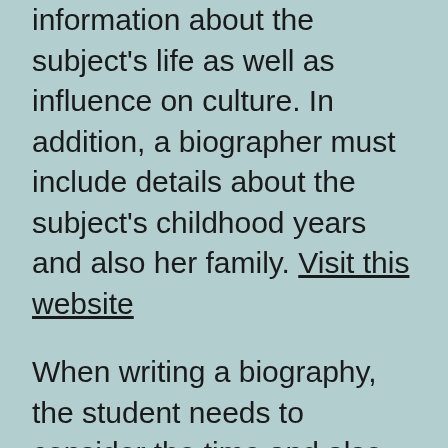information about the subject's life as well as influence on culture. In addition, a biographer must include details about the subject's childhood years and also her family. Visit this website
When writing a biography, the student needs to consider the time and also area where the subject lived and what formed his/her life. There are a number of ways to compose a biographical essay. A biographer must cover the individual's life as well as their partnership with the world. This way, the viewers can comprehend the character of the individual and